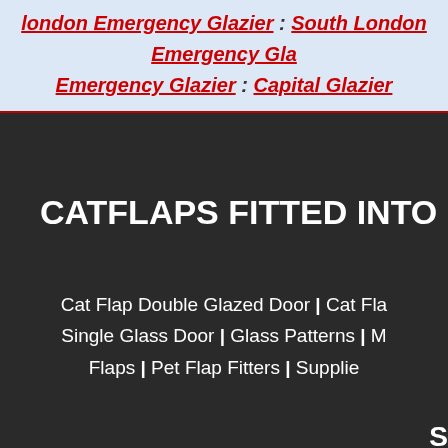london Emergency Glazier : South London Emergency Glazier : Emergency Glazier : Capital Glazier
CATFLAPS FITTED INTO
Cat Flap Double Glazed Door | Cat Flap Single Glass Door | Glass Patterns | M Flaps | Pet Flap Fitters | Supplier
S
Cat Flap Fitter | Cat Flap Installation | Catfl